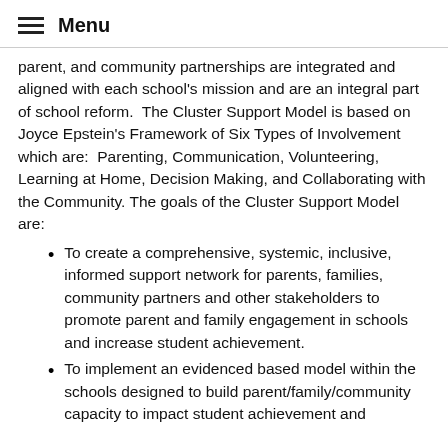Menu
parent, and community partnerships are integrated and aligned with each school's mission and are an integral part of school reform.  The Cluster Support Model is based on Joyce Epstein's Framework of Six Types of Involvement which are:  Parenting, Communication, Volunteering, Learning at Home, Decision Making, and Collaborating with the Community. The goals of the Cluster Support Model are:
To create a comprehensive, systemic, inclusive, informed support network for parents, families, community partners and other stakeholders to promote parent and family engagement in schools and increase student achievement.
To implement an evidenced based model within the schools designed to build parent/family/community capacity to impact student achievement and